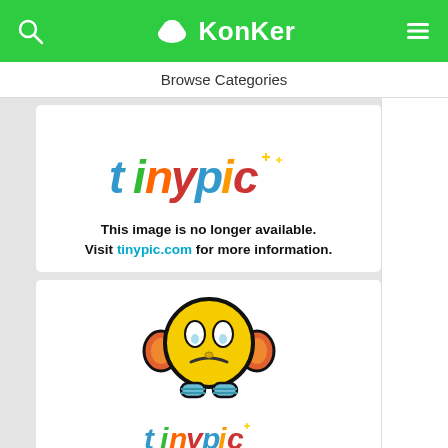KonKer
Browse Categories
[Figure (screenshot): TinyPic placeholder image showing the TinyPic logo and text: This image is no longer available. Visit tinypic.com for more information.]
[Figure (illustration): TinyPic placeholder image showing a sad yellow emoji face character with orange headphones/ears and blue feet, and partial TinyPic logo at the bottom.]